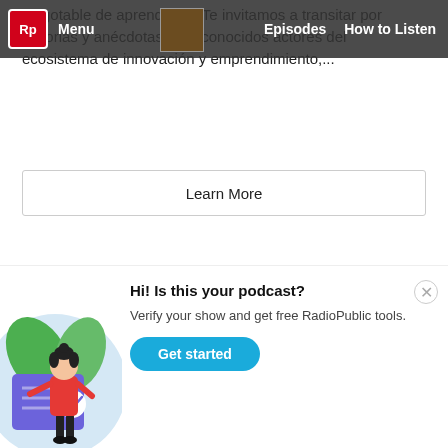RadioPublic — Menu | Episodes | How to Listen
inagotable de aprendizaje. Te invitamos a transitar por historias y anécdotas de reconocidos actores del ecosistema de innovación y emprendimiento,...
Learn More
Learn More
[Figure (photo): Dark/black rectangular image block, likely a podcast cover thumbnail]
[Figure (illustration): Illustration of a woman in red top and black pants standing next to a large checkmarked document, with green leaves in background, on a light blue circle background]
Hi! Is this your podcast? Verify your show and get free RadioPublic tools.
Get started